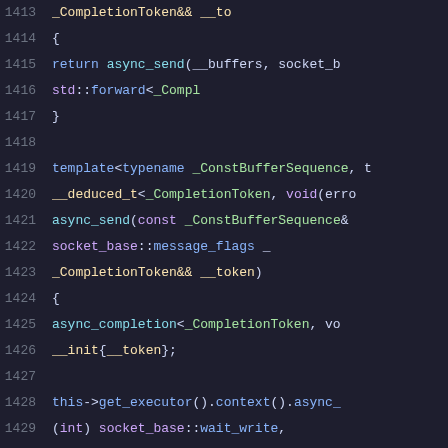[Figure (screenshot): Source code screenshot showing C++ code lines 1413-1433, with syntax highlighting on a dark background. Code involves async_send and async_completion template functions with CompletionToken and ConstBufferSequence types.]